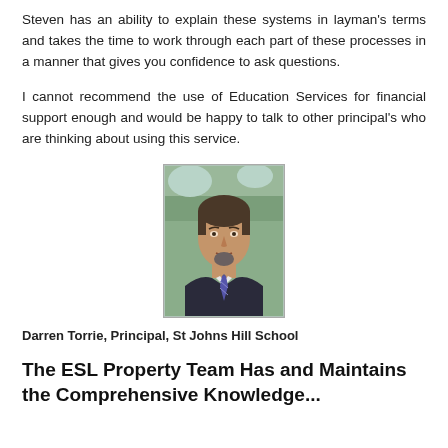Steven has an ability to explain these systems in layman's terms and takes the time to work through each part of these processes in a manner that gives you confidence to ask questions.
I cannot recommend the use of Education Services for financial support enough and would be happy to talk to other principal's who are thinking about using this service.
[Figure (photo): Portrait photo of Darren Torrie, a middle-aged man with short dark hair and a goatee, wearing a dark suit and striped tie, photographed outdoors with trees in the background.]
Darren Torrie, Principal, St Johns Hill School
The ESL Property Team Has and Maintains the Comprehensive Knowledge...